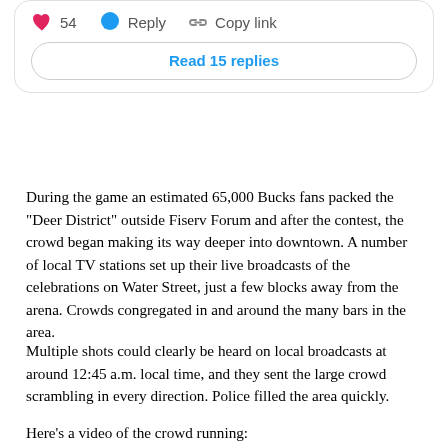[Figure (screenshot): Social media action bar showing a pink heart icon with count 54, a blue speech bubble Reply button, a chain link Copy link button, and a rounded button reading 'Read 15 replies' in blue text]
During the game an estimated 65,000 Bucks fans packed the "Deer District" outside Fiserv Forum and after the contest, the crowd began making its way deeper into downtown. A number of local TV stations set up their live broadcasts of the celebrations on Water Street, just a few blocks away from the arena. Crowds congregated in and around the many bars in the area.
Multiple shots could clearly be heard on local broadcasts at around 12:45 a.m. local time, and they sent the large crowd scrambling in every direction. Police filled the area quickly.
Here's a video of the crowd running: